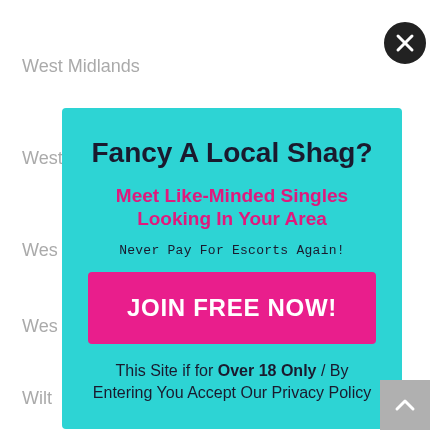West Midlands
West Sussex
Wes...
Wes...
Wilt...
Wo...
Wre...
[Figure (screenshot): Pop-up advertisement overlay on a website listing UK regions. Cyan/teal background. Title: 'Fancy A Local Shag?' in dark bold text. Subtitle in pink: 'Meet Like-Minded Singles Looking In Your Area'. Text: 'Never Pay For Escorts Again!' Pink button: 'JOIN FREE NOW!'. Footer text: 'This Site if for Over 18 Only / By Entering You Accept Our Privacy Policy'. Close button (X) top right.]
Copyright © Brothels – Find Local UK Brothels.